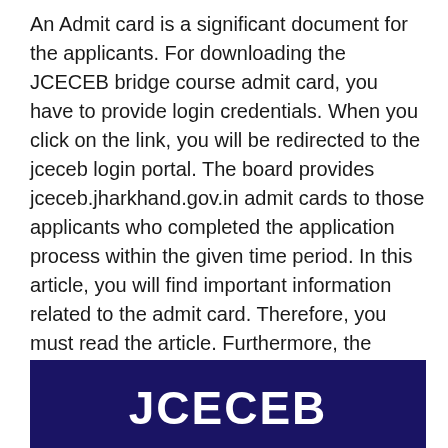An Admit card is a significant document for the applicants. For downloading the JCECEB bridge course admit card, you have to provide login credentials. When you click on the link, you will be redirected to the jceceb login portal. The board provides jceceb.jharkhand.gov.in admit cards to those applicants who completed the application process within the given time period. In this article, you will find important information related to the admit card. Therefore, you must read the article. Furthermore, the following information provides guidance on how to download the admit card.
[Figure (other): Dark navy blue banner with bold white text reading JCECEB]